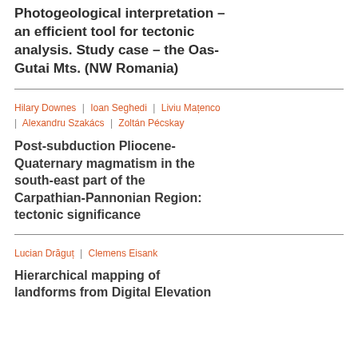Photogeological interpretation – an efficient tool for tectonic analysis. Study case – the Oas-Gutai Mts. (NW Romania)
Hilary Downes | Ioan Seghedi | Liviu Mațenco | Alexandru Szakács | Zoltán Pécskay
Post-subduction Pliocene-Quaternary magmatism in the south-east part of the Carpathian-Pannonian Region: tectonic significance
Lucian Drăguț | Clemens Eisank
Hierarchical mapping of landforms from Digital Elevation